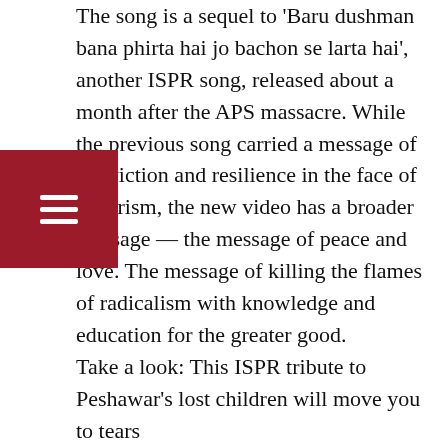The song is a sequel to 'Baru dushman bana phirta hai jo bachon se larta hai', another ISPR song, released about a month after the APS massacre. While the previous song carried a message of conviction and resilience in the face of terrorism, the new video has a broader message — the message of peace and love. The message of killing the flames of radicalism with knowledge and education for the greater good. Take a look: This ISPR tribute to Peshawar's lost children will move you to tears The attack on Peshawar's Army Public School resulted in widespread condemnation from national and international quarters with the government quickly scrambling into action. A National Action Plan (NAP) was then developed